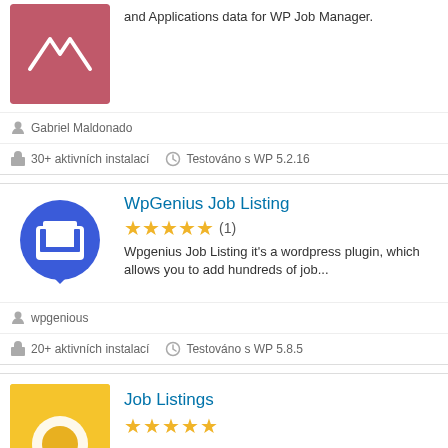[Figure (logo): Pink/red plugin logo with white V-shaped lines]
and Applications data for WP Job Manager.
Gabriel Maldonado
30+ aktivních instalací
Testováno s WP 5.2.16
[Figure (logo): Blue circle with white briefcase icon and speech bubble]
WpGenius Job Listing
[Figure (other): 5 gold stars rating with (1) review count]
Wpgenius Job Listing it's a wordpress plugin, which allows you to add hundreds of job...
wpgenious
20+ aktivních instalací
Testováno s WP 5.8.5
[Figure (logo): Yellow plugin logo partially visible at bottom]
Job Listings